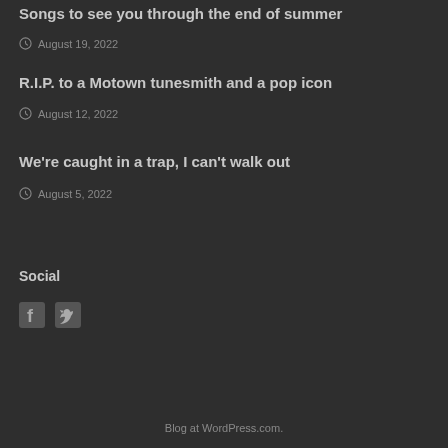Songs to see you through the end of summer
August 19, 2022
R.I.P. to a Motown tunesmith and a pop icon
August 12, 2022
We're caught in a trap, I can't walk out
August 5, 2022
Social
[Figure (other): Facebook and Twitter social media icons]
Blog at WordPress.com.